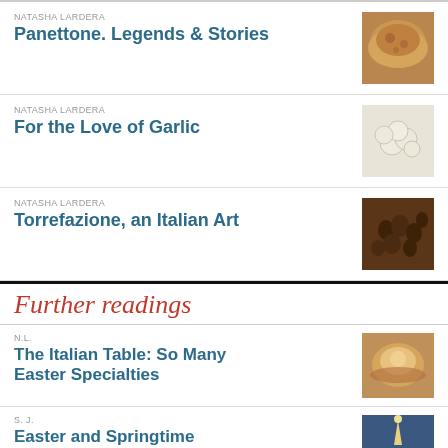NATASHA LARDERA
Panettone. Legends & Stories
NATASHA LARDERA
For the Love of Garlic
NATASHA LARDERA
Torrefazione, an Italian Art
Further readings
N.L.
The Italian Table: So Many Easter Specialties
S. J.
Easter and Springtime Traditions in Italy
K. P.